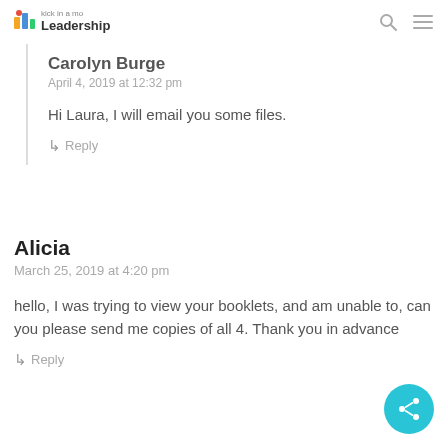Kick in a Mo Leadership
Carolyn Burge
April 4, 2019 at 12:32 pm

Hi Laura, I will email you some files.
↳ Reply
Alicia
March 25, 2019 at 4:20 pm

hello, I was trying to view your booklets, and am unable to, can you please send me copies of all 4. Thank you in advance
↳ Reply